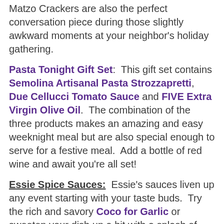Matzo Crackers are also the perfect conversation piece during those slightly awkward moments at your neighbor's holiday gathering.
Pasta Tonight Gift Set: This gift set contains Semolina Artisanal Pasta Strozzapretti, Due Cellucci Tomato Sauce and FIVE Extra Virgin Olive Oil. The combination of the three products makes an amazing and easy weeknight meal but are also special enough to serve for a festive meal. Add a bottle of red wine and await you're all set!
Essie Spice Sauces: Essie's sauces liven up any event starting with your taste buds. Try the rich and savory Coco for Garlic or sweeten your dish up a bit with a splash of TamarindOh!. This year Essie expanded her line beyond sauces introducing her Fi:Ye Collection. This collection includes handmade items for the kitchen and the table. The Fi:Ye Family Dinner Plac...